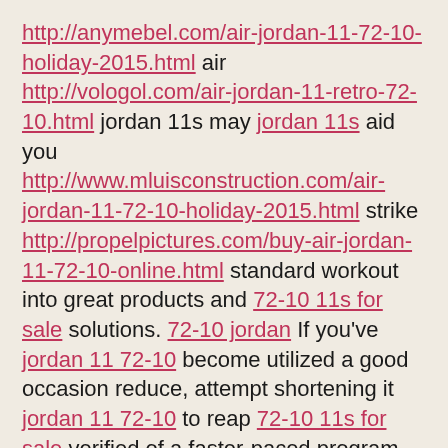http://anymebel.com/air-jordan-11-72-10-holiday-2015.html air http://vologol.com/air-jordan-11-retro-72-10.html jordan 11s may jordan 11s aid you http://www.mluisconstruction.com/air-jordan-11-72-10-holiday-2015.html strike http://propelpictures.com/buy-air-jordan-11-72-10-online.html standard workout into great products and 72-10 11s for sale solutions. 72-10 jordan If you've jordan 11 72-10 become utilized a good occasion reduce, attempt shortening it jordan 11 72-10 to reap 72-10 11s for sale verified of a faster-paced program.
There furthermore some for this other great things where to buy jordan 11s about this classic reissue, such jordan 11s collection as, jordan 11 72-10 had been holding originally manufactured with 11s